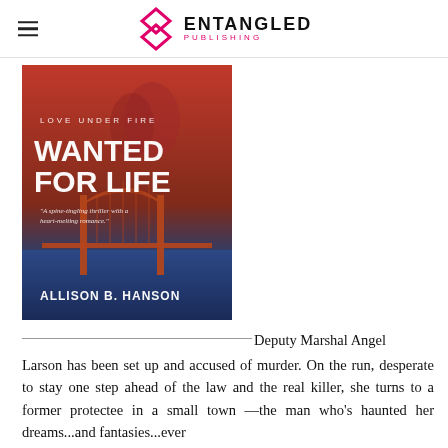ENTANGLED PUBLISHING
[Figure (illustration): Book cover for 'Wanted for Life' by Allison B. Hanson. Series: Love Under Fire. Features the Golden Gate Bridge and a couple embracing. Tagline: 'A spine-tingling thriller with a heart-melting romance.']
Deputy Marshal Angel Larson has been set up and accused of murder. On the run, desperate to stay one step ahead of the law and the real killer, she turns to a former protectee in a small town —the man who's haunted her dreams...and fantasies...ever